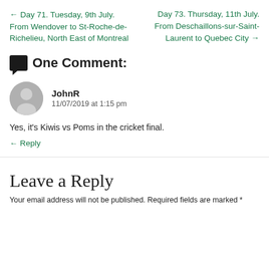← Day 71. Tuesday, 9th July. From Wendover to St-Roche-de-Richelieu, North East of Montreal
Day 73. Thursday, 11th July. From Deschaillons-sur-Saint-Laurent to Quebec City →
🗨 One Comment:
JohnR
11/07/2019 at 1:15 pm
Yes, it's Kiwis vs Poms in the cricket final.
← Reply
Leave a Reply
Your email address will not be published. Required fields are marked *